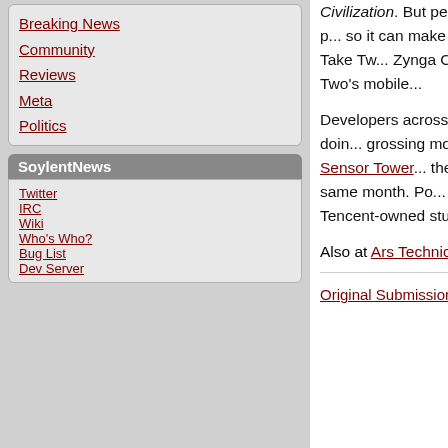Breaking News
Community
Reviews
Meta
Politics
SoylentNews
Twitter
IRC
Wiki
Who's Who?
Bug List
Dev Server
Civilization. But perhaps more importantly, Take-Two wants to use Zynga's expertise building hugely popular mobile games, so it can make new hit games based on its existing IP. Zynga will be the new brand for Take Two's mobile games. Zynga CEO Frank Gibeau will lead that effort and chart the potential direction of Take Two's mobile gaming strategy.
Developers across the industry have been pivoting toward mobile and earning a lot of money doing so. PUBG was the top-grossing mobile game worldwide in November, earning $254 million, according to Sensor Tower. Royal Match, the mobile-optimized version of the hit PC game, led iOS App Store revenue that same month. Pokemon Go has earned $5 billion in revenue as of its five-year birthday, Bloomberg reported. The Tencent-owned studio that makes Honor of Kings reportedly earned $10 billion in 2020.
Also at Ars Technica, CNBC, and Wccftech.
Original Submission
This discussion has been archived. No
Take-Two Interactive Acquires Zynga f... an Account | Top | 4 commen...